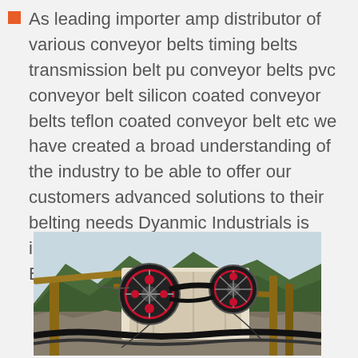As leading importer amp distributor of various conveyor belts timing belts transmission belt pu conveyor belts pvc conveyor belt silicon coated conveyor belts teflon coated conveyor belt etc we have created a broad understanding of the industry to be able to offer our customers advanced solutions to their belting needs Dyanmic Industrials is importers in India of Conveyor BeltsConveyor
[Figure (photo): Industrial crushing/conveyor machinery with rotating discs and belt conveyor system set against a mountainous background with rocky terrain.]